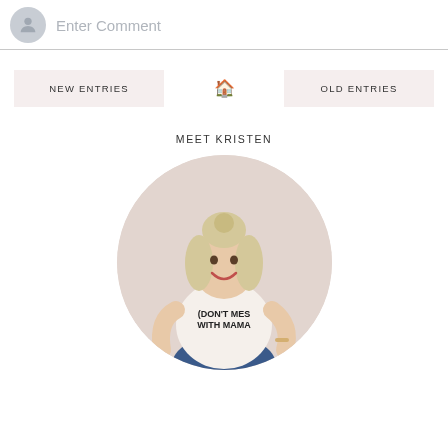Enter Comment
NEW ENTRIES
[Figure (other): Home icon]
OLD ENTRIES
MEET KRISTEN
[Figure (photo): Circular photo of Kristen, a blonde woman smiling, wearing a white t-shirt that reads DON'T MESS WITH MAMA, with jeans, set against a beige circle background.]